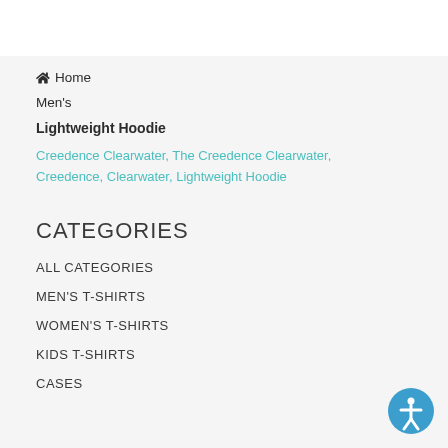Home
Men's
Lightweight Hoodie
Creedence Clearwater, The Creedence Clearwater, Creedence, Clearwater, Lightweight Hoodie
CATEGORIES
ALL CATEGORIES
MEN'S T-SHIRTS
WOMEN'S T-SHIRTS
KIDS T-SHIRTS
CASES